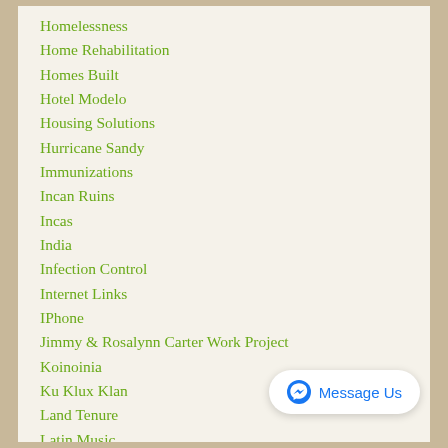Homelessness
Home Rehabilitation
Homes Built
Hotel Modelo
Housing Solutions
Hurricane Sandy
Immunizations
Incan Ruins
Incas
India
Infection Control
Internet Links
IPhone
Jimmy & Rosalynn Carter Work Project
Koinoinia
Ku Klux Klan
Land Tenure
Latin Music
Lawton First
Leadership
Learn And Build Experiences